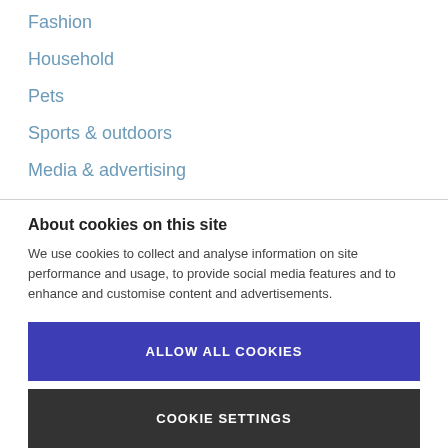Fashion
Household
Pets
Sports & outdoors
Media & advertising
About cookies on this site
We use cookies to collect and analyse information on site performance and usage, to provide social media features and to enhance and customise content and advertisements.
ALLOW ALL COOKIES
COOKIE SETTINGS